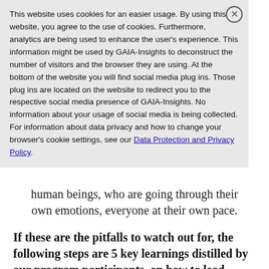This website uses cookies for an easier usage. By using this website, you agree to the use of cookies. Furthermore, analytics are being used to enhance the user's experience. This information might be used by GAIA-Insights to deconstruct the number of visitors and the browser they are using. At the bottom of the website you will find social media plug ins. Those plug ins are located on the website to redirect you to the respective social media presence of GAIA-Insights. No information about your usage of social media is being collected. For information about data privacy and how to change your browser's cookie settings, see our Data Protection and Privacy Policy.
human beings, who are going through their own emotions, everyone at their own pace.
If these are the pitfalls to watch out for, the following steps are 5 key learnings distilled by our program participants, on how to lead better under pressure: